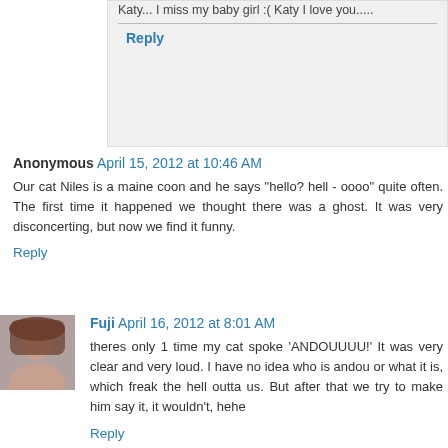Katy... I miss my baby girl :( Katy I love you.....
Reply
Anonymous April 15, 2012 at 10:46 AM
Our cat Niles is a maine coon and he says "hello? hell - oooo" quite often. The first time it happened we thought there was a ghost. It was very disconcerting, but now we find it funny.
Reply
Fuji April 16, 2012 at 8:01 AM
theres only 1 time my cat spoke 'ANDOUUUU!' It was very clear and very loud. I have no idea who is andou or what it is, which freak the hell outta us. But after that we try to make him say it, it wouldn't, hehe
Reply